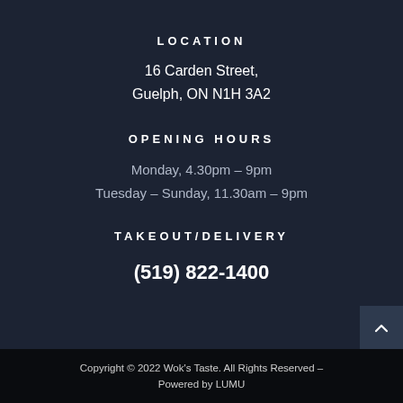LOCATION
16 Carden Street,
Guelph, ON N1H 3A2
OPENING HOURS
Monday, 4.30pm – 9pm
Tuesday – Sunday, 11.30am – 9pm
TAKEOUT/DELIVERY
(519) 822-1400
Copyright © 2022 Wok's Taste. All Rights Reserved – Powered by LUMU